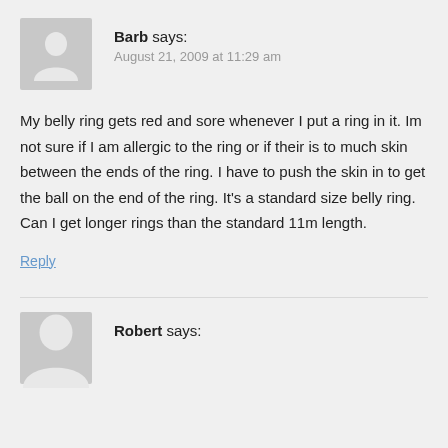[Figure (illustration): Gray avatar placeholder with person silhouette icon]
Barb says:
August 21, 2009 at 11:29 am
My belly ring gets red and sore whenever I put a ring in it. Im not sure if I am allergic to the ring or if their is to much skin between the ends of the ring. I have to push the skin in to get the ball on the end of the ring. It's a standard size belly ring. Can I get longer rings than the standard 11m length.
Reply
[Figure (illustration): Gray avatar placeholder with person silhouette icon]
Robert says: